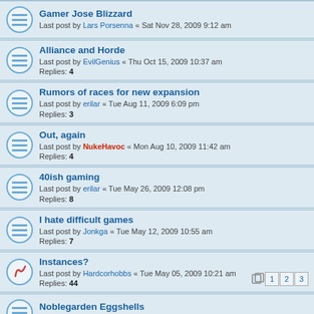Gamer Jose Blizzard
Last post by Lars Porsenna « Sat Nov 28, 2009 9:12 am
Alliance and Horde
Last post by EvilGenius « Thu Oct 15, 2009 10:37 am
Replies: 4
Rumors of races for new expansion
Last post by erilar « Tue Aug 11, 2009 6:09 pm
Replies: 3
Out, again
Last post by NukeHavoc « Mon Aug 10, 2009 11:42 am
Replies: 4
40ish gaming
Last post by erilar « Tue May 26, 2009 12:08 pm
Replies: 8
I hate difficult games
Last post by Jonkga « Tue May 12, 2009 10:55 am
Replies: 7
Instances?
Last post by Hardcorhobbs « Tue May 05, 2009 10:21 am
Replies: 44
Pages: 1 2 3
Noblegarden Eggshells
Last post by Hardcorhobbs « Tue Apr 28, 2009 8:02 am
Gathering is MUCH easier now ....
Last post by erilar « Fri Apr 24, 2009 8:51 pm
Replies: 1
WoW Technical Help
Last post by Jonkga « Fri Apr 24, 2009 5:16 pm